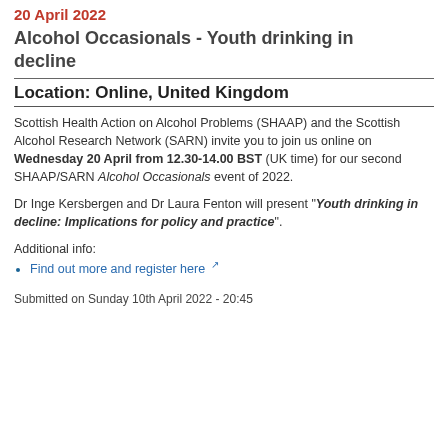20 April 2022
Alcohol Occasionals - Youth drinking in decline
Location: Online, United Kingdom
Scottish Health Action on Alcohol Problems (SHAAP) and the Scottish Alcohol Research Network (SARN) invite you to join us online on Wednesday 20 April from 12.30-14.00 BST (UK time) for our second SHAAP/SARN Alcohol Occasionals event of 2022.
Dr Inge Kersbergen and Dr Laura Fenton will present "Youth drinking in decline: Implications for policy and practice".
Additional info:
Find out more and register here
Submitted on Sunday 10th April 2022 - 20:45